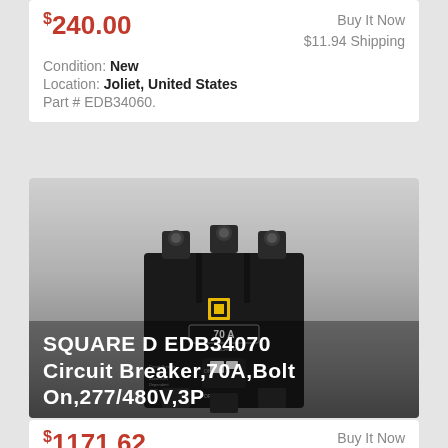$240.00
Buy It Now
$11.94 Shipping
Condition: New
Location: Joliet, United States
Part # EDB34060.
[Figure (photo): Square D EDB34070 circuit breaker - black 3-pole bolt-on breaker with yellow Square D logo and 70A label, showing three terminal connections at top]
SQUARE D EDB34070 Circuit Breaker,70A,Bolt On,277/480V,3P
$1171.62
Buy It Now
Free Shipping